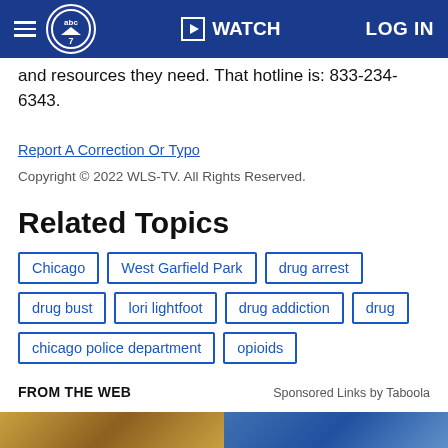abc7 WATCH LOG IN
and resources they need. That hotline is: 833-234-6343.
Report A Correction Or Typo
Copyright © 2022 WLS-TV. All Rights Reserved.
Related Topics
Chicago
West Garfield Park
drug arrest
drug bust
lori lightfoot
drug addiction
drug
chicago police department
opioids
FROM THE WEB
Sponsored Links by Taboola